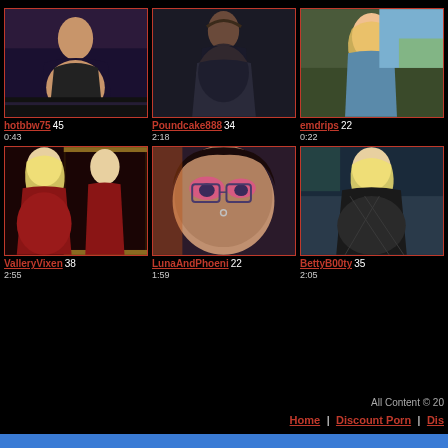[Figure (photo): Thumbnail of hotbbw75, redhead woman in lingerie on bed]
hotbbw75 45
0:43
[Figure (photo): Thumbnail of Poundcake888, woman in dark outfit from behind]
Poundcake888 34
2:18
[Figure (photo): Thumbnail of emdrips, blonde woman outdoors in blue]
emdrips 22
0:22
[Figure (photo): Thumbnail of ValleryVixen, blonde woman in red dress]
ValleryVixen 38
2:55
[Figure (photo): Thumbnail of LunaAndPhoeni, woman with clown makeup]
LunaAndPhoeni 22
1:59
[Figure (photo): Thumbnail of BettyB00ty, blonde woman in black lingerie]
BettyB00ty 35
2:05
All Content © 20... | Home | Discount Porn | Dis...